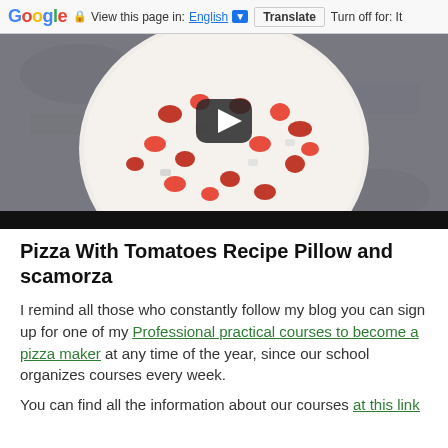Google | View this page in: English [▼] Translate  Turn off for: It
[Figure (screenshot): Video thumbnail of a pizza with cherry tomatoes and scamorza on a white plate, with a play button overlay in the center. Dark granite background.]
Pizza With Tomatoes Recipe Pillow and scamorza
I remind all those who constantly follow my blog you can sign up for one of my Professional practical courses to become a pizza maker at any time of the year, since our school organizes courses every week.
You can find all the information about our courses at this link